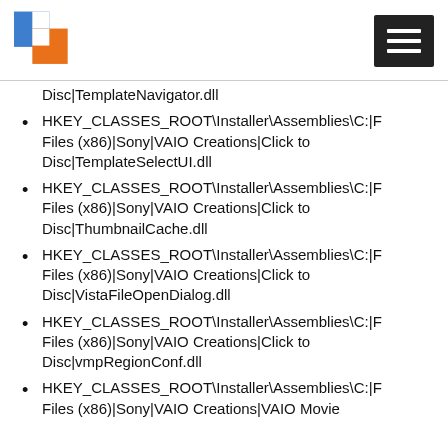Logo and menu button header
Disc|TemplateNavigator.dll
HKEY_CLASSES_ROOT\Installer\Assemblies\C:|F Files (x86)|Sony|VAIO Creations|Click to Disc|TemplateSelectUI.dll
HKEY_CLASSES_ROOT\Installer\Assemblies\C:|F Files (x86)|Sony|VAIO Creations|Click to Disc|ThumbnailCache.dll
HKEY_CLASSES_ROOT\Installer\Assemblies\C:|F Files (x86)|Sony|VAIO Creations|Click to Disc|VistaFileOpenDialog.dll
HKEY_CLASSES_ROOT\Installer\Assemblies\C:|F Files (x86)|Sony|VAIO Creations|Click to Disc|vmpRegionConf.dll
HKEY_CLASSES_ROOT\Installer\Assemblies\C:|F Files (x86)|Sony|VAIO Creations|VAIO Movie